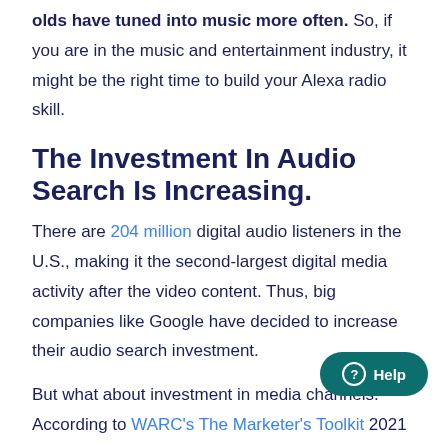olds have tuned into music more often. So, if you are in the music and entertainment industry, it might be the right time to build your Alexa radio skill.
The Investment In Audio Search Is Increasing.
There are 204 million digital audio listeners in the U.S., making it the second-largest digital media activity after the video content. Thus, big companies like Google have decided to increase their audio search investment.
But what about investment in media channels. According to WARC's The Marketer's Toolkit 2021